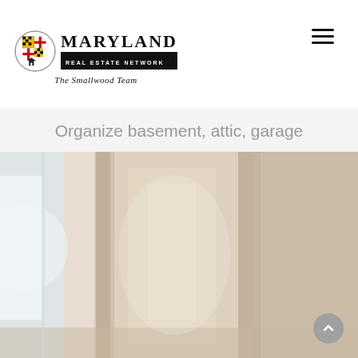Maryland Real Estate Network — The Smallwood Team
Organize basement, attic, garage
[Figure (photo): Interior photo showing a light-colored room with white walls, a window on the left, and wooden door/cabinet elements, with soft warm lighting suggesting a clean organized space.]